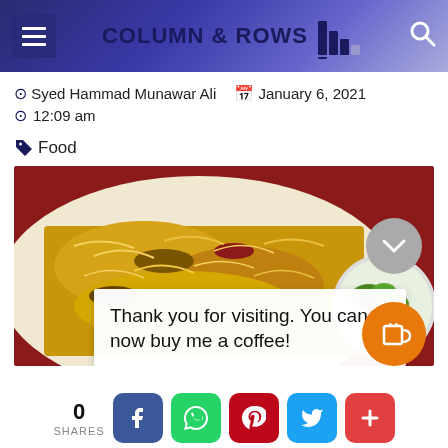COLUMN & ROWS
Syed Hammad Munawar Ali  January 6, 2021  12:09 am
Food
[Figure (photo): Close-up photo of biryani rice dish on a white plate with red decorative background, and a side salad in a bowl]
Thank you for visiting. You can now buy me a coffee!
0 SHARES  Facebook  WhatsApp  Pinterest  Twitter  More